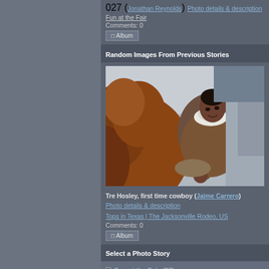027 (Jonathan Reynolds)
Photo details & description
Fun at the Fair
Comments: 0
Album
Random Images From Previous Stories
[Figure (photo): Close-up photo of a person leaning over a horse, working with the animal. The horse's brown mane fills the left foreground. The person is wearing a brown jacket with a white collar.]
Tre Hosley, first time cowboy (Jaime Carrero)
Photo details & description
Tops in Texas | The Jacksonville Rodeo, US
Comments: 0
Album
Select a Photo Story
Fun at the Fair (27) — A good holiday Fun Fair should have everything that's miss joy rides, trials of strength, candies, booze, music, entertain